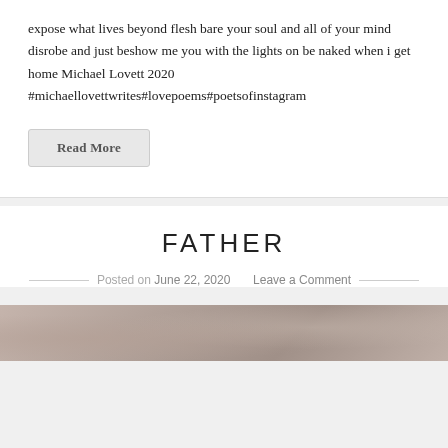expose what lives beyond flesh bare your soul and all of your mind disrobe and just beshow me you with the lights on be naked when i get home Michael Lovett 2020 #michaellovettwrites#lovepoems#poetsofinstagram
Read More
FATHER
Posted on June 22, 2020  Leave a Comment
[Figure (photo): A photograph strip showing people, partially visible at the bottom of the page, appearing faded/vintage in tone.]